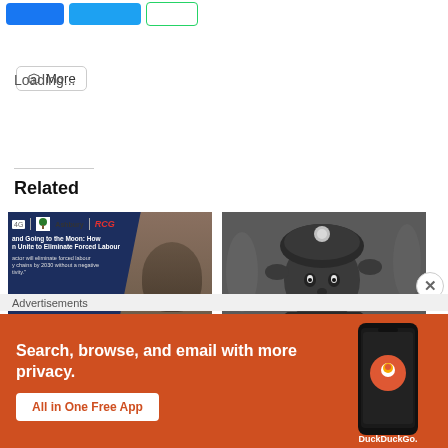[Figure (screenshot): Social share buttons row: Facebook, Twitter, WhatsApp share buttons (partially cropped)]
[Figure (screenshot): More share button with share icon]
Loading...
Related
[Figure (screenshot): Thumbnail for article: Webinar: The 2030 'Moon Goal' for Modern Slavery - showing Ashbury and RCG logos over a dark background with overlaid photo]
Webinar: The 2030 'Moon Goal' for Modern Slavery
[Figure (photo): Black and white photo of a man wearing a mining helmet with light]
[Op-ed] How socially responsible investing can
Advertisements
[Figure (screenshot): DuckDuckGo advertisement banner: Search, browse, and email with more privacy. All in One Free App. Shows phone image with DuckDuckGo logo.]